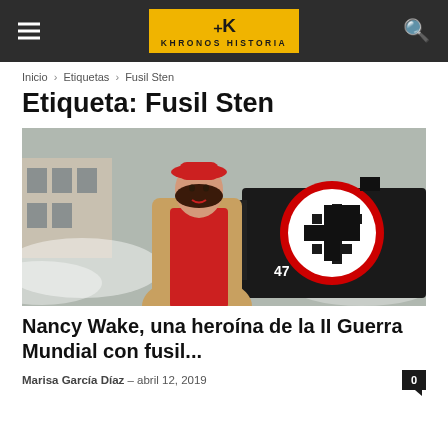KHRONOS HISTORIA
Inicio › Etiquetas › Fusil Sten
Etiqueta: Fusil Sten
[Figure (photo): Woman in red dress and red hat standing in front of a steam locomotive with a Nazi swastika emblem, numbered 47]
Nancy Wake, una heroína de la II Guerra Mundial con fusil...
Marisa García Díaz – abril 12, 2019